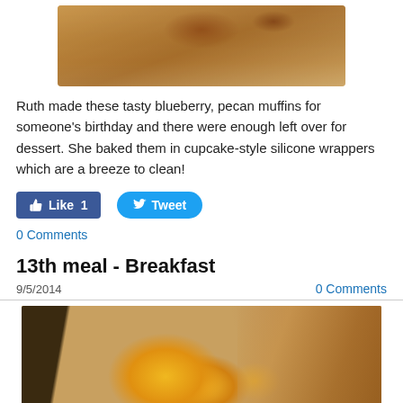[Figure (photo): Photo of blueberry pecan muffins on a white surface]
Ruth made these tasty blueberry, pecan muffins for someone's birthday and there were enough left over for dessert. She baked them in cupcake-style silicone wrappers which are a breeze to clean!
Like 1   Tweet
0 Comments
13th meal - Breakfast
9/5/2014   0 Comments
[Figure (photo): Photo of a breakfast plate with orange slices and toast on a wooden table with a fork]